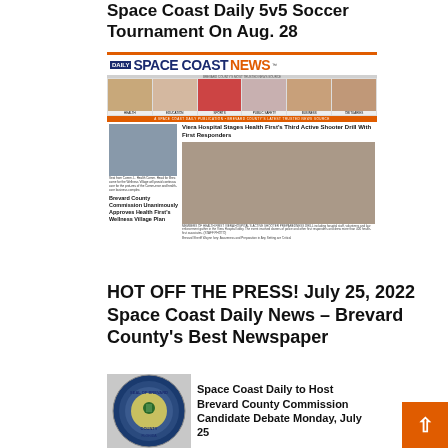Space Coast Daily 5v5 Soccer Tournament On Aug. 28
[Figure (photo): Newspaper front page of Space Coast Daily News dated July 25, 2022, showing health and public safety stories including Viera Hospital active shooter drill]
HOT OFF THE PRESS! July 25, 2022 Space Coast Daily News – Brevard County's Best Newspaper
[Figure (photo): Brevard County seal logo alongside text about Space Coast Daily hosting Brevard County Commission Candidate Debate Monday, July 25]
[Figure (other): Orange back-to-top button with upward arrow]